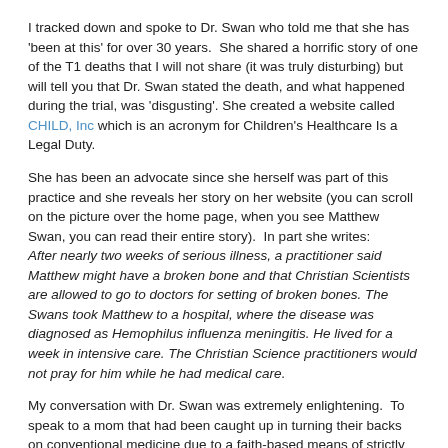I tracked down and spoke to Dr. Swan who told me that she has 'been at this' for over 30 years.  She shared a horrific story of one of the T1 deaths that I will not share (it was truly disturbing) but will tell you that Dr. Swan stated the death, and what happened during the trial, was 'disgusting'. She created a website called CHILD, Inc which is an acronym for Children's Healthcare Is a Legal Duty.
She has been an advocate since she herself was part of this practice and she reveals her story on her website (you can scroll on the picture over the home page, when you see Matthew Swan, you can read their entire story).  In part she writes:
After nearly two weeks of serious illness, a practitioner said Matthew might have a broken bone and that Christian Scientists are allowed to go to doctors for setting of broken bones. The Swans took Matthew to a hospital, where the disease was diagnosed as Hemophilus influenza meningitis. He lived for a week in intensive care. The Christian Science practitioners would not pray for him while he had medical care.
My conversation with Dr. Swan was extremely enlightening.  To speak to a mom that had been caught up in turning their backs on conventional medicine due to a faith-based means of strictly healing by prayer; then realizing that may not have been the correct choice; and then to try to achieve goals to help children who seem to have no choice in the matter whatsoever; just left me breathless.